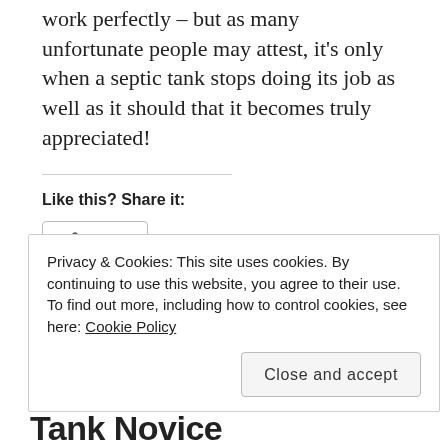work perfectly – but as many unfortunate people may attest, it's only when a septic tank stops doing its job as well as it should that it becomes truly appreciated!
Like this? Share it:
[Figure (other): Share button with share icon]
[Figure (other): Like button with star icon]
Be the first to like this.
Privacy & Cookies: This site uses cookies. By continuing to use this website, you agree to their use.
To find out more, including how to control cookies, see here: Cookie Policy
[Figure (other): Close and accept button]
Tank Novice